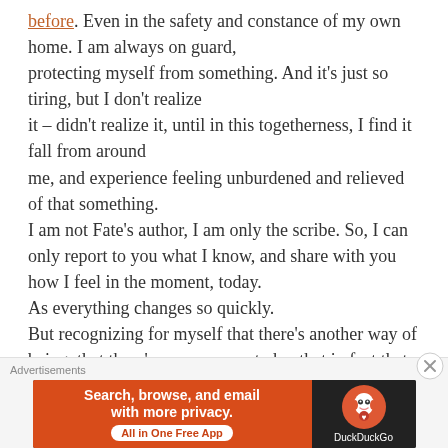before. Even in the safety and constance of my own home. I am always on guard, protecting myself from something. And it's just so tiring, but I don't realize it – didn't realize it, until in this togetherness, I find it fall from around me, and experience feeling unburdened and relieved of that something. I am not Fate's author, I am only the scribe. So, I can only report to you what I know, and share with you how I feel in the moment, today. As everything changes so quickly. But recognizing for myself that there's another way of being, that there's an open way to be, that in fact that way
Advertisements
[Figure (other): DuckDuckGo advertisement banner: orange left panel with text 'Search, browse, and email with more privacy. All in One Free App' and dark right panel with DuckDuckGo logo and name.]